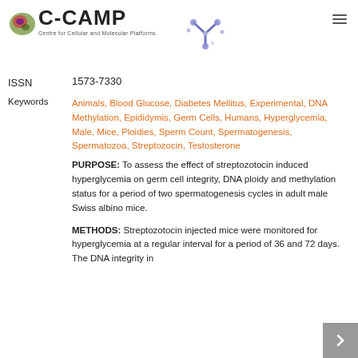[Figure (logo): C-CAMP logo with stylized cell graphic, text 'C-CAMP' and subtitle 'Centre for Cellular and Molecular Platforms', with antibody molecule illustration]
ISSN    1573-7330
Keywords   Animals, Blood Glucose, Diabetes Mellitus, Experimental, DNA Methylation, Epididymis, Germ Cells, Humans, Hyperglycemia, Male, Mice, Ploidies, Sperm Count, Spermatogenesis, Spermatozoa, Streptozocin, Testosterone
PURPOSE: To assess the effect of streptozotocin induced hyperglycemia on germ cell integrity, DNA ploidy and methylation status for a period of two spermatogenesis cycles in adult male Swiss albino mice.
METHODS: Streptozotocin injected mice were monitored for hyperglycemia at a regular interval for a period of 36 and 72 days. The DNA integrity in